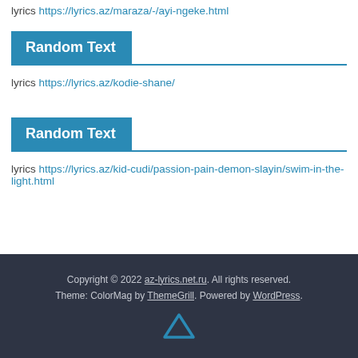lyrics https://lyrics.az/maraza/-/ayi-ngeke.html
Random Text
lyrics https://lyrics.az/kodie-shane/
Random Text
lyrics https://lyrics.az/kid-cudi/passion-pain-demon-slayin/swim-in-the-light.html
Copyright © 2022 az-lyrics.net.ru. All rights reserved. Theme: ColorMag by ThemeGrill. Powered by WordPress.